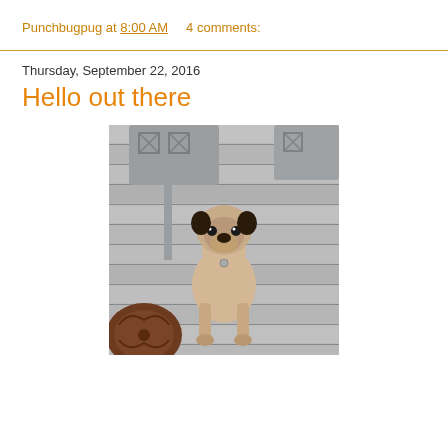Punchbugpug at 8:00 AM    4 comments:
Thursday, September 22, 2016
Hello out there
[Figure (photo): A pug dog sitting on a gray wooden deck, looking at the camera. Gray lattice-back patio chairs are visible in the background. A decorative cast iron mat is in the lower left corner.]